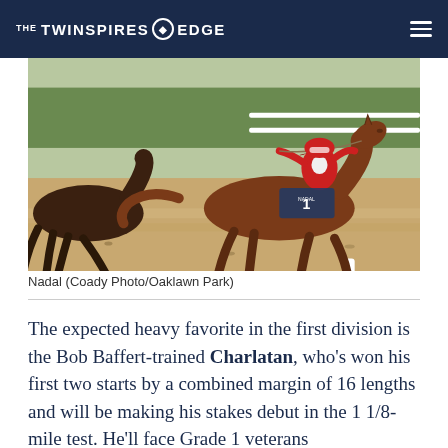THE TWINSPIRES EDGE
[Figure (photo): Horse racing photo showing horses galloping on a wet track. A jockey in red and blue silks rides a chestnut horse. The Nadal saddle cloth is visible. Green grass and white railing in the background.]
Nadal (Coady Photo/Oaklawn Park)
The expected heavy favorite in the first division is the Bob Baffert-trained Charlatan, who's won his first two starts by a combined margin of 16 lengths and will be making his stakes debut in the 1 1/8-mile test. He'll face Grade 1 veterans